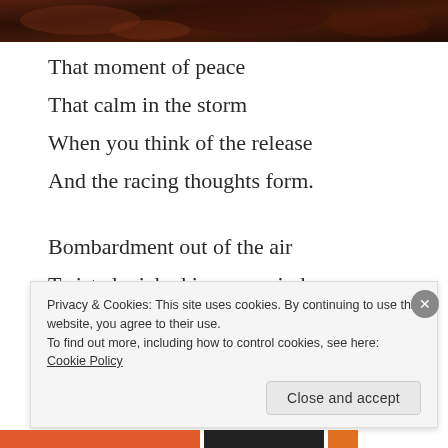[Figure (photo): Dark reddish-brown textured image at the top of the page, appears to be a close-up of leaves or organic material.]
That moment of peace
That calm in the storm
When you think of the release
And the racing thoughts form.
Bombardment out of the air
Twisted wicked in your mind
Seemingly out of nowhere
Privacy & Cookies: This site uses cookies. By continuing to use this website, you agree to their use.
To find out more, including how to control cookies, see here: Cookie Policy
Close and accept